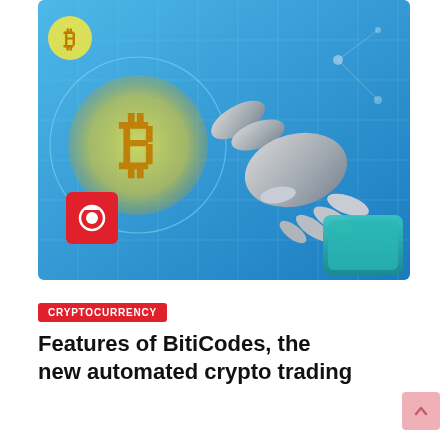[Figure (photo): Robotic mechanical hand pointing at or touching a glowing blue digital interface with a Bitcoin (BTC) symbol logo in the background — conceptual image for automated crypto trading.]
CRYPTOCURRENCY
Features of BitiCodes, the new automated crypto trading